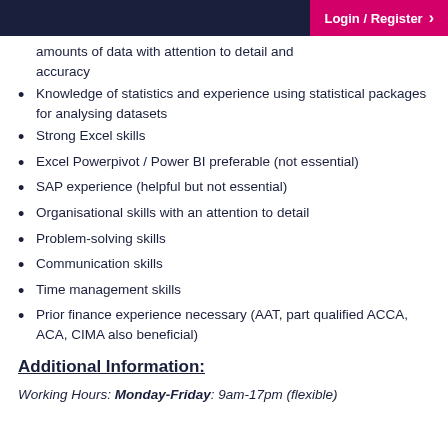Login / Register
amounts of data with attention to detail and accuracy
Knowledge of statistics and experience using statistical packages for analysing datasets
Strong Excel skills
Excel Powerpivot / Power BI preferable (not essential)
SAP experience (helpful but not essential)
Organisational skills with an attention to detail
Problem-solving skills
Communication skills
Time management skills
Prior finance experience necessary (AAT, part qualified ACCA, ACA, CIMA also beneficial)
Additional Information:
Working Hours: Monday-Friday: 9am-17pm (flexible)